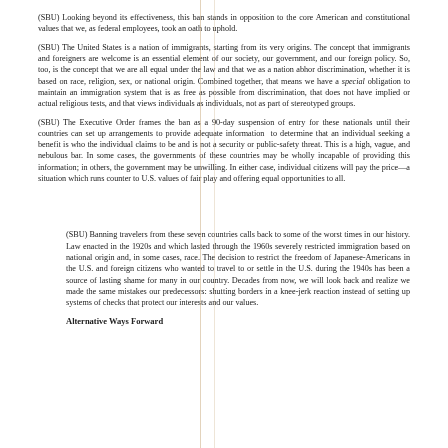(SBU) Looking beyond its effectiveness, this ban stands in opposition to the core American and constitutional values that we, as federal employees, took an oath to uphold.
(SBU) The United States is a nation of immigrants, starting from its very origins. The concept that immigrants and foreigners are welcome is an essential element of our society, our government, and our foreign policy. So, too, is the concept that we are all equal under the law and that we as a nation abhor discrimination, whether it is based on race, religion, sex, or national origin. Combined together, that means we have a special obligation to maintain an immigration system that is as free as possible from discrimination, that does not have implied or actual religious tests, and that views individuals as individuals, not as part of stereotyped groups.
(SBU) The Executive Order frames the ban as a 90-day suspension of entry for these nationals until their countries can set up arrangements to provide adequate information to determine that an individual seeking a benefit is who the individual claims to be and is not a security or public-safety threat. This is a high, vague, and nebulous bar. In some cases, the governments of these countries may be wholly incapable of providing this information; in others, the government may be unwilling. In either case, individual citizens will pay the price—a situation which runs counter to U.S. values of fair play and offering equal opportunities to all.
(SBU) Banning travelers from these seven countries calls back to some of the worst times in our history. Law enacted in the 1920s and which lasted through the 1960s severely restricted immigration based on national origin and, in some cases, race. The decision to restrict the freedom of Japanese-Americans in the U.S. and foreign citizens who wanted to travel to or settle in the U.S. during the 1940s has been a source of lasting shame for many in our country. Decades from now, we will look back and realize we made the same mistakes our predecessors: shutting borders in a knee-jerk reaction instead of setting up systems of checks that protect our interests and our values.
Alternative Ways Forward